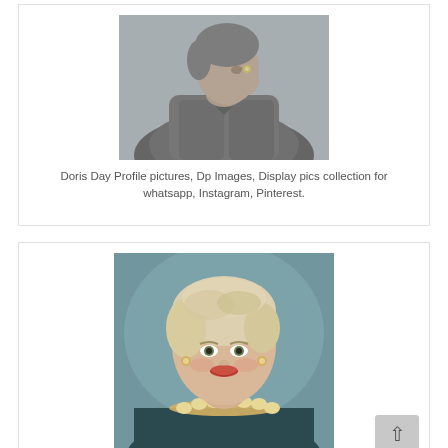[Figure (photo): Black and white profile photo of Doris Day with her hand near her face, wearing a textured jacket and ring]
Doris Day Profile pictures, Dp Images, Display pics collection for whatsapp, Instagram, Pinterest.
[Figure (photo): Color portrait photo of Doris Day with blonde hair, wearing a dark top and diamond necklace, smiling]